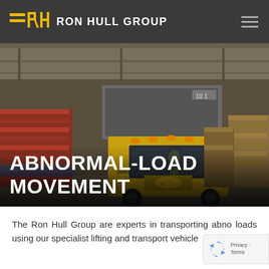RON HULL GROUP
[Figure (photo): A yellow Volvo heavy-duty truck parked inside a large warehouse, surrounded by stacked pallets of goods. The truck has text 'ZERO TO LANDFILL CO.UK' on the front. Several workers visible. Overhead lighting in an industrial setting.]
ABNORMAL-LOAD MOVEMENT
The Ron Hull Group are experts in transporting abno loads using our specialist lifting and transport vehicle